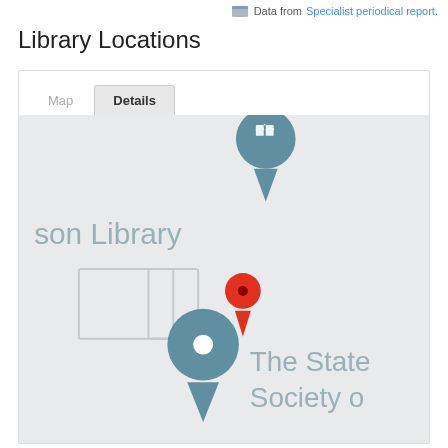Data from Specialist periodical report.
Library Locations
[Figure (map): Interactive map showing library locations with map/details tabs. A teal map pin with book icon labeled 'son Library', a red location pin in the center of the map, and a teal location pin labeled 'The State Society o' are visible on a light grey map background with building outlines.]